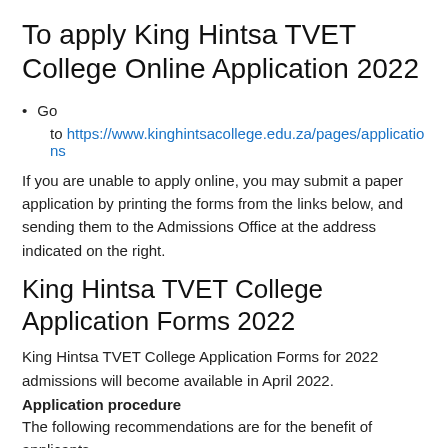To apply King Hintsa TVET College Online Application 2022
Go to https://www.kinghintsacollege.edu.za/pages/applications
If you are unable to apply online, you may submit a paper application by printing the forms from the links below, and sending them to the Admissions Office at the address indicated on the right.
King Hintsa TVET College Application Forms 2022
King Hintsa TVET College Application Forms for 2022 admissions will become available in April 2022.
Application procedure
The following recommendations are for the benefit of applicants.
When to apply